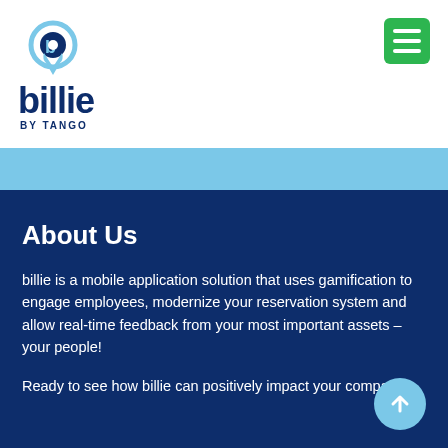[Figure (logo): Billie by Tango logo: circular location-pin icon with letter b, text 'billie' in dark navy, 'BY TANGO' subtitle]
About Us
billie is a mobile application solution that uses gamification to engage employees, modernize your reservation system and allow real-time feedback from your most important assets – your people!
Ready to see how billie can positively impact your company?